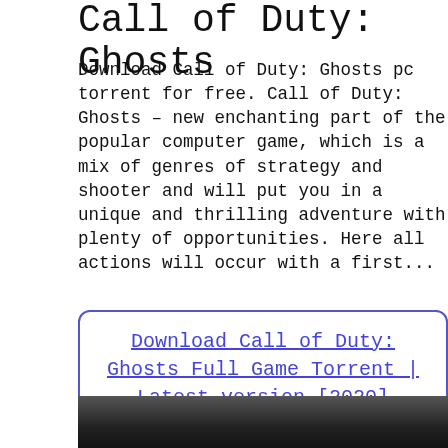Call of Duty: Ghosts
Download Call of Duty: Ghosts pc torrent for free. Call of Duty: Ghosts – new enchanting part of the popular computer game, which is a mix of genres of strategy and shooter and will put you in a unique and thrilling adventure with plenty of opportunities. Here all actions will occur with a first...
Download Call of Duty: Ghosts Full Game Torrent | Latest version [2020] Shooter
[Figure (photo): Dark screenshot from Call of Duty: Ghosts game]